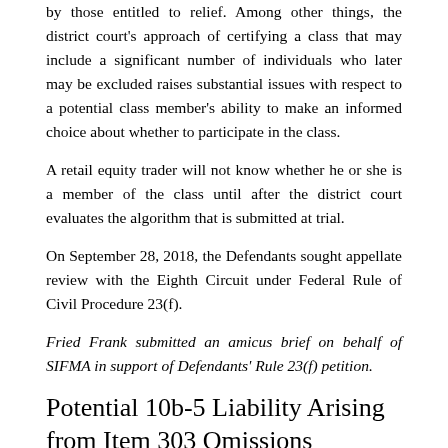by those entitled to relief. Among other things, the district court's approach of certifying a class that may include a significant number of individuals who later may be excluded raises substantial issues with respect to a potential class member's ability to make an informed choice about whether to participate in the class.
A retail equity trader will not know whether he or she is a member of the class until after the district court evaluates the algorithm that is submitted at trial.
On September 28, 2018, the Defendants sought appellate review with the Eighth Circuit under Federal Rule of Civil Procedure 23(f).
Fried Frank submitted an amicus brief on behalf of SIFMA in support of Defendants' Rule 23(f) petition.
Potential 10b-5 Liability Arising from Item 303 Omissions
The courts of appeal remain divided over whether the alleged failure to disclose trend information required by Item 303 of the SEC's Regulation S-K, 17 C.F.R. § 229.303, is an actionable omission under Section 10(b) of the Securities Exchange Act and Rule 10b-5.
Item 303 requires the disclosure of certain information, such as "known trends or uncertainties … that the registrant reasonably